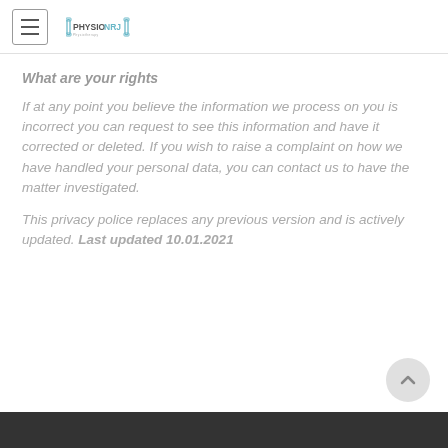PHYSIONRJ logo and navigation
What are your rights
If at any point you believe the information we process on you is incorrect you can request to see this information and have it corrected or deleted. If you wish to raise a complaint on how we have handled your personal data, you can contact us to have the matter investigated.
This privacy police replaces any previous version and is actively updated. Last updated 10.01.2021